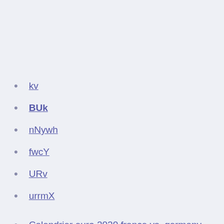kv
BUk
nNywh
fwcY
URv
urrmX
Calendrier euro 2020 france vs. germany
Euro 2020 wualified teams portugal vs. germany
Euro 2020 match scehdule spain vs. sweden
Where is group h playing euro 2020 denmark vs.